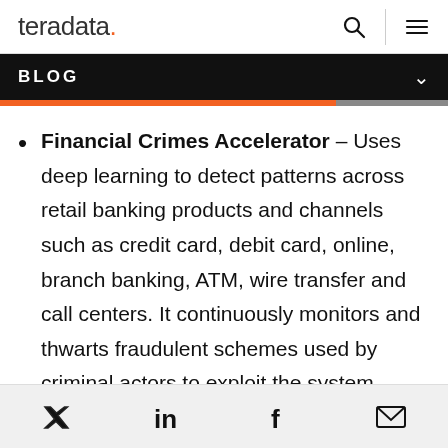teradata. [search icon] [menu icon]
BLOG
Financial Crimes Accelerator – Uses deep learning to detect patterns across retail banking products and channels such as credit card, debit card, online, branch banking, ATM, wire transfer and call centers. It continuously monitors and thwarts fraudulent schemes used by criminal actors to exploit the system, leading to quick time to value.
Twitter | LinkedIn | Facebook | Email